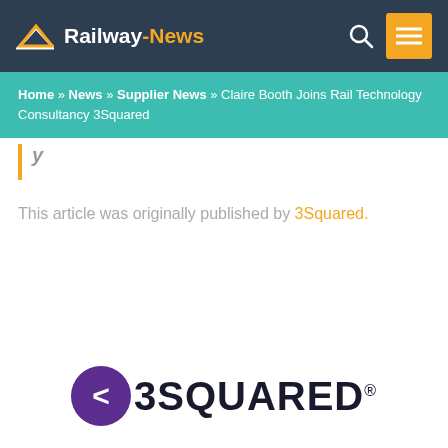Railway-News
Home » News » Supplier News » Claire Booth Joins Rail Technology Consultancy 3Squared
This article was originally published by 3Squared.
[Figure (logo): 3Squared company logo with purple circle containing left-angle bracket and bold text '3SQUARED' with registered trademark symbol]